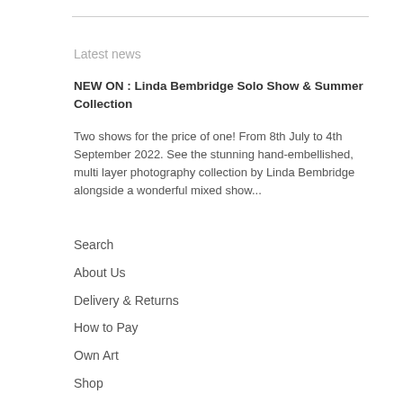Latest news
NEW ON : Linda Bembridge Solo Show & Summer Collection
Two shows for the price of one! From 8th July to 4th September 2022. See the stunning hand-embellished, multi layer photography collection by Linda Bembridge alongside a wonderful mixed show...
Search
About Us
Delivery & Returns
How to Pay
Own Art
Shop
T&Cs
Contact Us